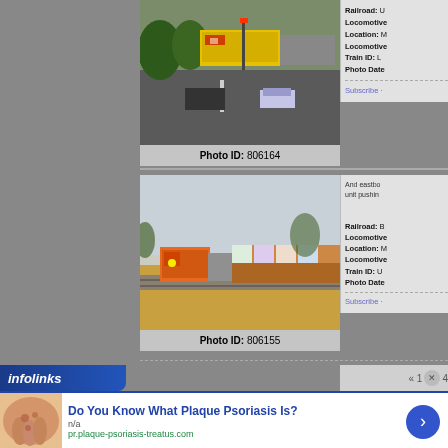[Figure (photo): Aerial/elevated view of a Union Pacific yellow locomotive at a road crossing with cars stopped, trees and buildings in background]
Photo ID: 806164
Railroad: U
Locomotive:
Location: M
Locomotive:
Train ID: L
Photo Date:
Subscribe ·
And eastbo unit pushin
[Figure (photo): BNSF orange locomotive pulling intermodal containers train through open grassland/field area]
Photo ID: 806155
Railroad: B
Locomotive:
Location: M
Locomotive:
Train ID: U
Photo Date:
Subscribe ·
[Figure (logo): infolinks logo in blue box]
« 1 4
[Figure (photo): Close-up photo of human skin showing psoriasis condition]
Do You Know What Plaque Psoriasis Is?
n/a
pr.plaque-psoriasis-treatus.com